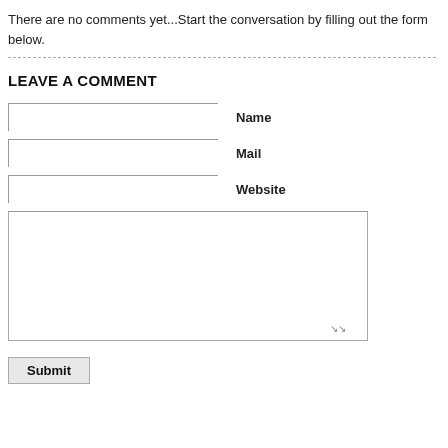There are no comments yet...Start the conversation by filling out the form below.
LEAVE A COMMENT
Name
Mail
Website
Submit